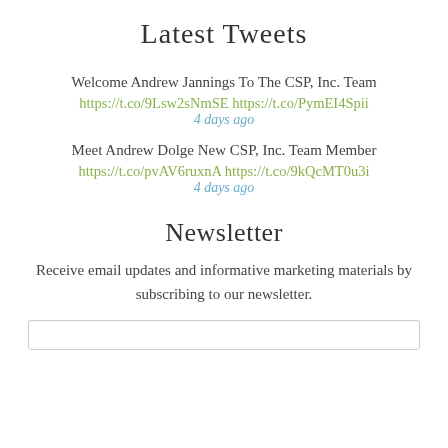Latest Tweets
Welcome Andrew Jannings To The CSP, Inc. Team https://t.co/9Lsw2sNmSE https://t.co/PymEI4Spii 4 days ago
Meet Andrew Dolge New CSP, Inc. Team Member https://t.co/pvAV6ruxnA https://t.co/9kQcMT0u3i 4 days ago
Newsletter
Receive email updates and informative marketing materials by subscribing to our newsletter.